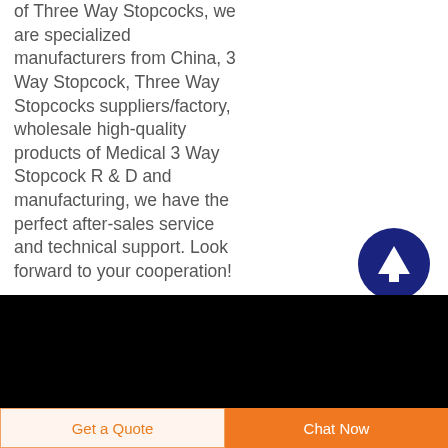of Three Way Stopcocks, we are specialized manufacturers from China, 3 Way Stopcock, Three Way Stopcocks suppliers/factory, wholesale high-quality products of Medical 3 Way Stopcock R & D and manufacturing, we have the perfect after-sales service and technical support. Look forward to your cooperation!
[Figure (other): Dark blue circular button with white upward arrow icon (scroll to top button)]
Copyright © 2022 BQ+ MEDICAL CO., LTD.    Sitemap |
Get a Quote
Chat Now